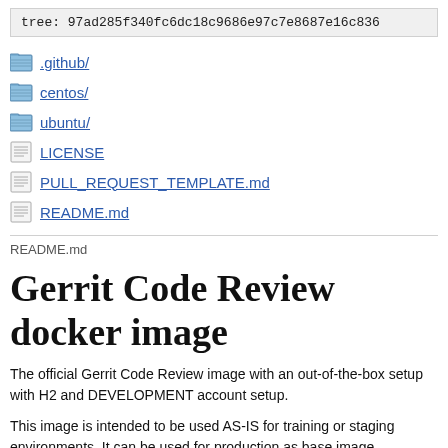tree: 97ad285f340fc6dc18c9686e97c7e8687e16c836
.github/
centos/
ubuntu/
LICENSE
PULL_REQUEST_TEMPLATE.md
README.md
README.md
Gerrit Code Review docker image
The official Gerrit Code Review image with an out-of-the-box setup with H2 and DEVELOPMENT account setup.
This image is intended to be used AS-IS for training or staging environments. It can be used for production as base image